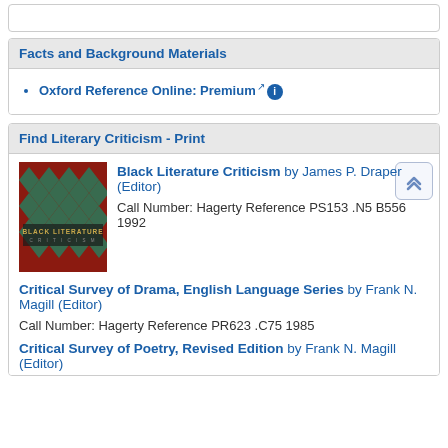Facts and Background Materials
Oxford Reference Online: Premium
Find Literary Criticism - Print
[Figure (photo): Book cover of Black Literature Criticism, red cover with teal diamond pattern]
Black Literature Criticism by James P. Draper (Editor)
Call Number: Hagerty Reference PS153 .N5 B556 1992
Critical Survey of Drama, English Language Series by Frank N. Magill (Editor)
Call Number: Hagerty Reference PR623 .C75 1985
Critical Survey of Poetry, Revised Edition by Frank N. Magill (Editor)